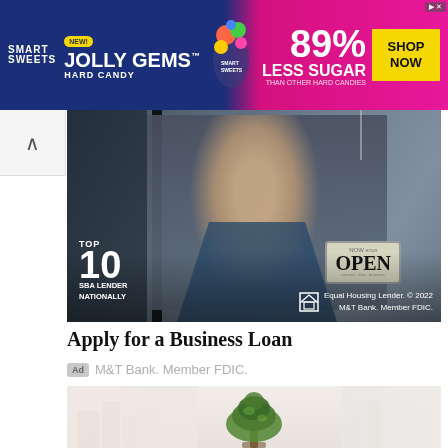[Figure (photo): Smart Sweets banner advertisement for Jolly Gems Hard Candy — blue and pink background with 89% Less Sugar claim and Shop Now button]
[Figure (photo): M&T Bank business loan advertisement showing a smiling woman in a denim apron opening a shop door with an OPEN sign. Text overlay: TOP 10 SBA LENDER NATIONALLY. Equal Housing Lender © 2022 M&T Bank. Member FDIC.]
Apply for a Business Loan
Ad  M&T Bank. Member FDIC.
[Figure (photo): Second advertisement image showing a green tree in an urban setting with blurred city buildings in background]